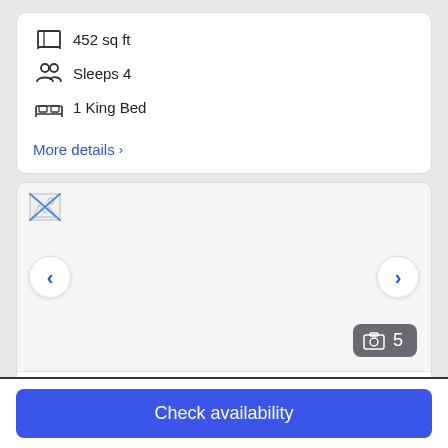452 sq ft
Sleeps 4
1 King Bed
More details >
[Figure (photo): Hotel room photo carousel with broken image placeholder, navigation arrows, and photo count badge showing 5 photos]
One King Bed, Non-Smoking, Roll In Shower
Check availability